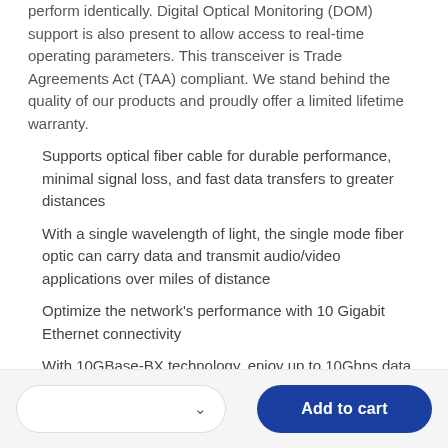perform identically. Digital Optical Monitoring (DOM) support is also present to allow access to real-time operating parameters. This transceiver is Trade Agreements Act (TAA) compliant. We stand behind the quality of our products and proudly offer a limited lifetime warranty.
Supports optical fiber cable for durable performance, minimal signal loss, and fast data transfers to greater distances
With a single wavelength of light, the single mode fiber optic can carry data and transmit audio/video applications over miles of distance
Optimize the network's performance with 10 Gigabit Ethernet connectivity
With 10GBase-BX technology, enjoy up to 10Gbps data transfer rate over optical fiber cable